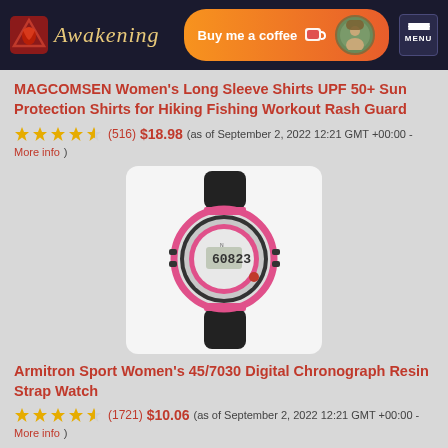[Figure (screenshot): Website header with Awakening logo, Buy me a coffee button, person avatar, and MENU button on dark background]
MAGCOMSEN Women's Long Sleeve Shirts UPF 50+ Sun Protection Shirts for Hiking Fishing Workout Rash Guard
★★★★½ (516) $18.98 (as of September 2, 2022 12:21 GMT +00:00 - More info)
[Figure (photo): Armitron Sport Women's digital watch with black and pink resin strap showing digital display reading 6:08]
Armitron Sport Women's 45/7030 Digital Chronograph Resin Strap Watch
★★★★½ (1721) $10.06 (as of September 2, 2022 12:21 GMT +00:00 - More info)